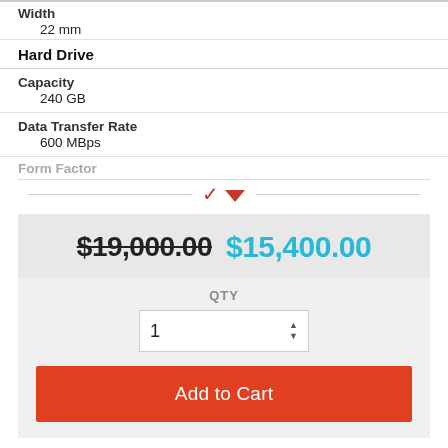Width
22 mm
Hard Drive
Capacity
240 GB
Data Transfer Rate
600 MBps
Form Factor
$19,000.00  $15,400.00
QTY
1
Add to Cart
Featured Products